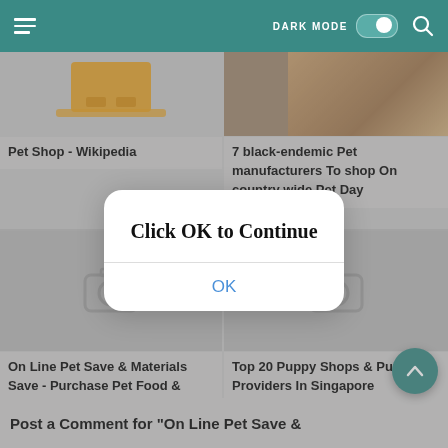DARK MODE [toggle] [search]
[Figure (screenshot): Mobile browser screenshot showing a pet-related website with a teal navigation bar containing a hamburger menu, DARK MODE toggle, and search icon. Below are card grid items including 'Pet Shop - Wikipedia' and '7 black-endemic Pet manufacturers To shop On country wide Pet Day' with thumbnail images. A modal dialog overlays the content with 'Click OK to Continue' text and an OK button. Bottom cards show placeholder images for 'On Line Pet Save & Materials Save - Purchase Pet Food & Accessories' and 'Top 20 Puppy Shops & Puppy Providers In Singapore'. A teal FAB scroll-up button is visible. At the bottom: 'Post a Comment for On Line Pet Save &']